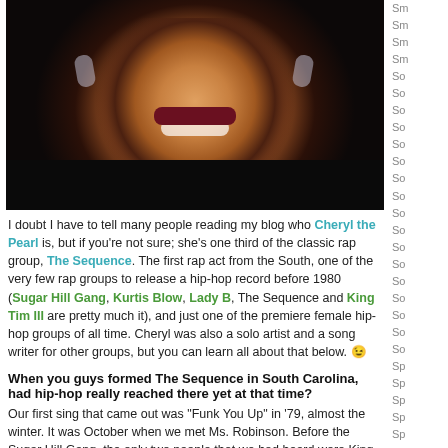[Figure (photo): Close-up photo of Cheryl the Pearl, a woman smiling, wearing hoop earrings, dark lipstick, and a black top, against a dark background.]
I doubt I have to tell many people reading my blog who Cheryl the Pearl is, but if you're not sure; she's one third of the classic rap group, The Sequence. The first rap act from the South, one of the very few rap groups to release a hip-hop record before 1980 (Sugar Hill Gang, Kurtis Blow, Lady B, The Sequence and King Tim III are pretty much it), and just one of the premiere female hip-hop groups of all time. Cheryl was also a solo artist and a song writer for other groups, but you can learn all about that below. ;)
When you guys formed The Sequence in South Carolina, had hip-hop really reached there yet at that time?
Our first sing that came out was "Funk You Up" in '79, almost the winter. It was October when we met Ms. Robinson. Before the Sugar Hill Gang, the only two people that we had heard were King Tim III